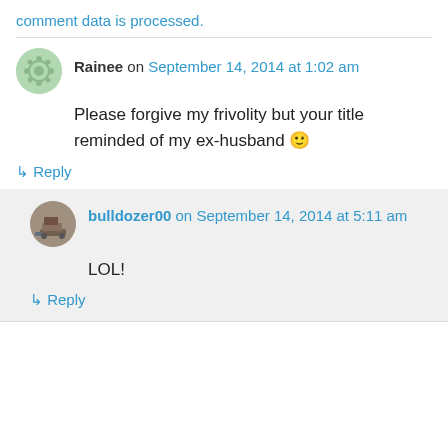comment data is processed.
Rainee on September 14, 2014 at 1:02 am
Please forgive my frivolity but your title reminded of my ex-husband 🙂
↳ Reply
bulldozer00 on September 14, 2014 at 5:11 am
LOL!
↳ Reply